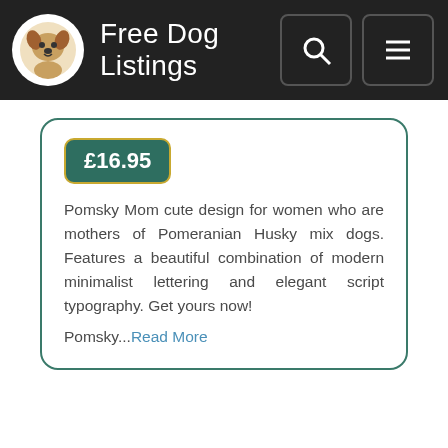Free Dog Listings
£16.95
Pomsky Mom cute design for women who are mothers of Pomeranian Husky mix dogs. Features a beautiful combination of modern minimalist lettering and elegant script typography. Get yours now!
Pomsky...Read More